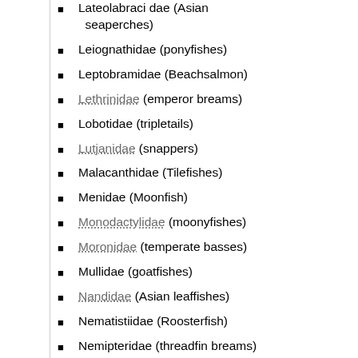Lateolabraci dae (Asian seaperches)
Leiognathidae (ponyfishes)
Leptobramidae (Beachsalmon)
Lethrinidae (emperor breams)
Lobotidae (tripletails)
Lutjanidae (snappers)
Malacanthidae (Tilefishes)
Menidae (Moonfish)
Monodactylidae (moonyfishes)
Moronidae (temperate basses)
Mullidae (goatfishes)
Nandidae (Asian leaffishes)
Nematistiidae (Roosterfish)
Nemipteridae (threadfin breams)
Opistognathidae (jawfishes)
Oplegnathidae (knifejaws)